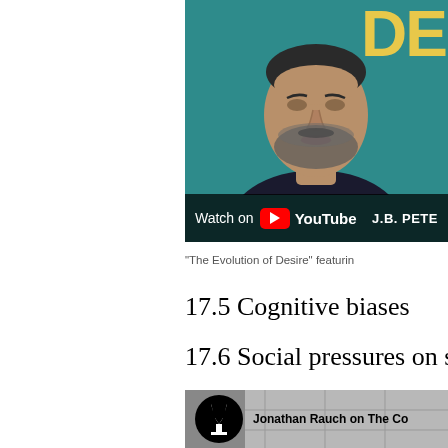[Figure (screenshot): YouTube video thumbnail showing a man with grey beard on teal background with partial text 'DE' in yellow, 'Watch on YouTube' bar at bottom, 'J.B. PETE' text on right side of bar]
"The Evolution of Desire" featurin
17.5 Cognitive biases
17.6 Social pressures on scie
[Figure (screenshot): YouTube video thumbnail showing channel icon (goblet/chalice on black circle) with text 'Jonathan Rauch on The Co' and grey building background]